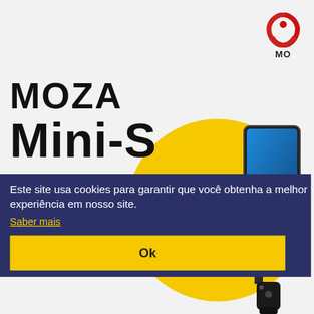[Figure (logo): MOZA brand logo with red circular icon and text MO (partially visible)]
MOZA Mini-S
[Figure (photo): MOZA Mini-S smartphone gimbal stabilizer on yellow circle background]
Este site usa cookies para garantir que você obtenha a melhor experiência em nosso site.
Saber mais
Ok